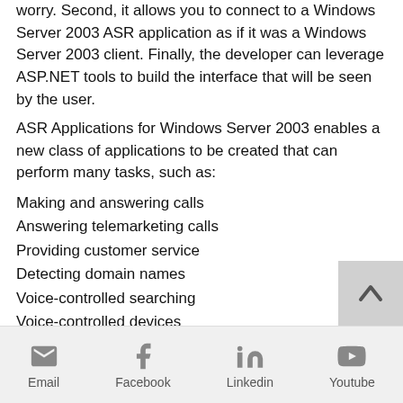worry. Second, it allows you to connect to a Windows Server 2003 ASR application as if it was a Windows Server 2003 client. Finally, the developer can leverage ASP.NET tools to build the interface that will be seen by the user.
ASR Applications for Windows Server 2003 enables a new class of applications to be created that can perform many tasks, such as:
Making and answering calls
Answering telemarketing calls
Providing customer service
Detecting domain names
Voice-controlled searching
Voice-controlled devices
This tool is great for starting an ASP.NET career and will set you up for success, no matter which technology you decide to
Email | Facebook | Linkedin | Youtube